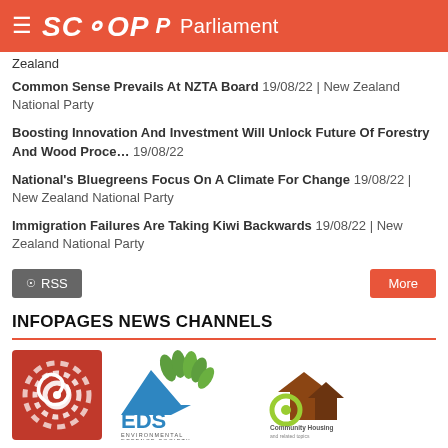SCOOP Parliament
Zealand
Common Sense Prevails At NZTA Board 19/08/22 | New Zealand National Party
Boosting Innovation And Investment Will Unlock Future Of Forestry And Wood Proce... 19/08/22
National's Bluegreens Focus On A Climate For Change 19/08/22 | New Zealand National Party
Immigration Failures Are Taking Kiwi Backwards 19/08/22 | New Zealand National Party
INFOPAGES NEWS CHANNELS
[Figure (logo): Three logos: a red square with spiral/wave icon, EDS Environmental Defence Society logo with blue mountain and green leaves, and Community Housing logo with house silhouettes]